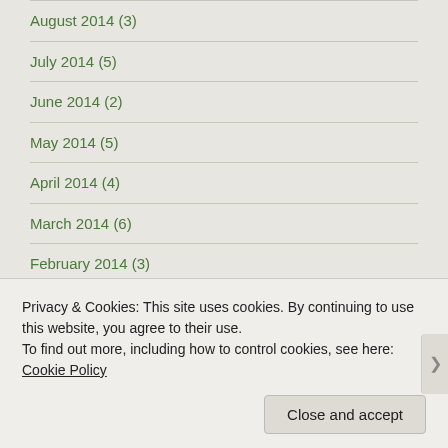August 2014 (3)
July 2014 (5)
June 2014 (2)
May 2014 (5)
April 2014 (4)
March 2014 (6)
February 2014 (3)
January 2014 (6)
December 2013 (7)
November 2013 (8)
Privacy & Cookies: This site uses cookies. By continuing to use this website, you agree to their use.
To find out more, including how to control cookies, see here: Cookie Policy